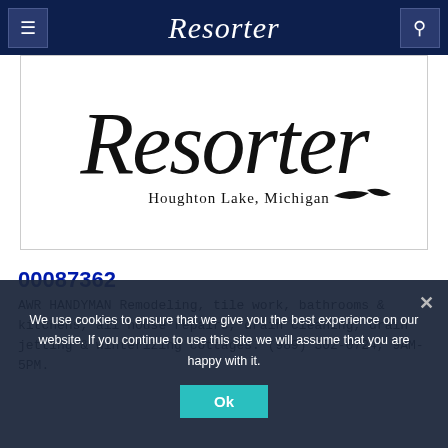Resorter
[Figure (logo): Resorter newspaper logo with italic serif text reading 'Resorter' and subtitle 'Houghton Lake, Michigan' with decorative fish graphic]
00087362
AWR HANDYMAN Remodeling, tile work, bathrooms & kitchens, all house repairs, drain cleaning, drain jetting & winterizing cottages. (989) 302-0724, 9AM-5PM.
We use cookies to ensure that we give you the best experience on our website. If you continue to use this site we will assume that you are happy with it. Ok